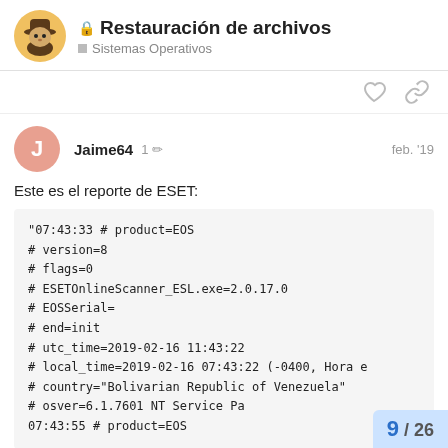Restauración de archivos
Sistemas Operativos
Jaime64   1 ✏  feb. '19
Este es el reporte de ESET:
"07:43:33 # product=EOS
# version=8
# flags=0
# ESETOnlineScanner_ESL.exe=2.0.17.0
# EOSSerial=
# end=init
# utc_time=2019-02-16 11:43:22
# local_time=2019-02-16 07:43:22 (-0400, Hora e
# country="Bolivarian Republic of Venezuela"
# osver=6.1.7601 NT Service Pa
07:43:55 # product=EOS
9 / 26